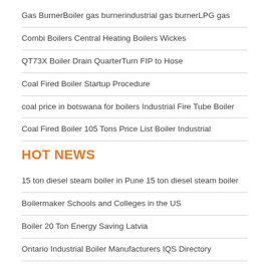Gas BurnerBoiler gas burnerindustrial gas burnerLPG gas
Combi Boilers Central Heating Boilers Wickes
QT73X Boiler Drain QuarterTurn FIP to Hose
Coal Fired Boiler Startup Procedure
coal price in botswana for boilers Industrial Fire Tube Boiler
Coal Fired Boiler 105 Tons Price List Boiler Industrial
HOT NEWS
15 ton diesel steam boiler in Pune 15 ton diesel steam boiler
Boilermaker Schools and Colleges in the US
Boiler 20 Ton Energy Saving Latvia
Ontario Industrial Boiler Manufacturers IQS Directory